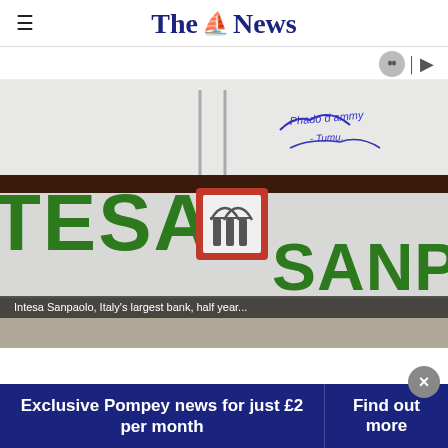The News
[Figure (photo): Photo of an Intesa Sanpaolo bank branch sign, showing the green letters 'TESA' and 'SANPAOLO' with the red-bordered logo in the center. Graffiti visible on the wall above.]
Intesa Sanpaolo, Italy's largest bank, half year...
Exclusive Pompey news for just £2 per month
Find out more